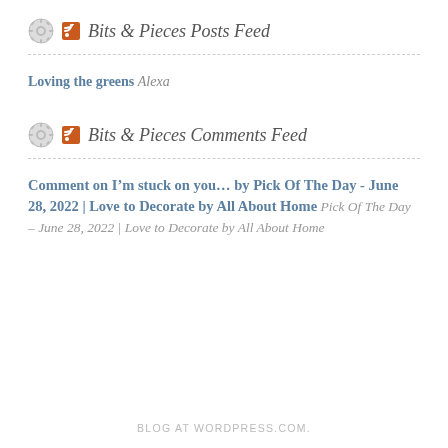Bits & Pieces Posts Feed
Loving the greens Alexa
Bits & Pieces Comments Feed
Comment on I'm stuck on you... by Pick Of The Day - June 28, 2022 | Love to Decorate by All About Home Pick Of The Day – June 28, 2022 | Love to Decorate by All About Home
BLOG AT WORDPRESS.COM.